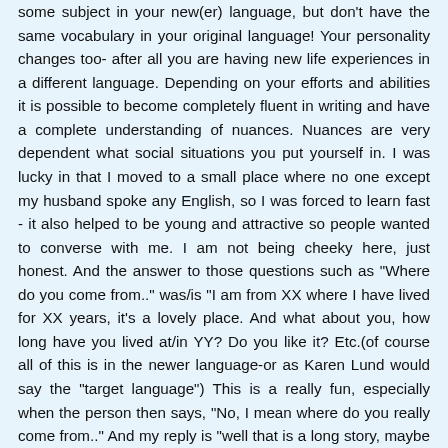some subject in your new(er) language, but don't have the same vocabulary in your original language! Your personality changes too- after all you are having new life experiences in a different language. Depending on your efforts and abilities it is possible to become completely fluent in writing and have a complete understanding of nuances. Nuances are very dependent what social situations you put yourself in. I was lucky in that I moved to a small place where no one except my husband spoke any English, so I was forced to learn fast - it also helped to be young and attractive so people wanted to converse with me. I am not being cheeky here, just honest. And the answer to those questions such as "Where do you come from.." was/is "I am from XX where I have lived for XX years, it's a lovely place. And what about you, how long have you lived at/in YY? Do you like it? Etc.(of course all of this is in the newer language-or as Karen Lund would say the "target language") This is a really fun, especially when the person then says, "No, I mean where do you really come from.." And my reply is "well that is a long story, maybe I will tell you one day..." on to next topic! One of the most fun compliments I ever received was from a stranger in the US who said to me "you speak really excellent